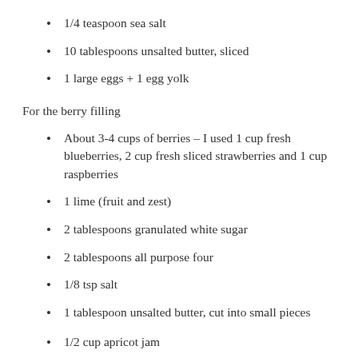1/4 teaspoon sea salt
10 tablespoons unsalted butter, sliced
1 large eggs + 1 egg yolk
For the berry filling
About 3-4 cups of berries – I used 1 cup fresh blueberries, 2 cup fresh sliced strawberries and 1 cup raspberries
1 lime (fruit and zest)
2 tablespoons granulated white sugar
2 tablespoons all purpose four
1/8 tsp salt
1 tablespoon unsalted butter, cut into small pieces
1/2 cup apricot jam
1 TB water